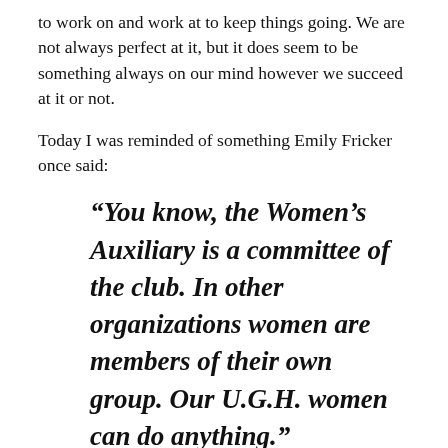to work on and work at to keep things going. We are not always perfect at it, but it does seem to be something always on our mind however we succeed at it or not.
Today I was reminded of something Emily Fricker once said:
“You know, the Women’s Auxiliary is a committee of the club. In other organizations women are members of their own group. Our U.G.H. women can do anything.”